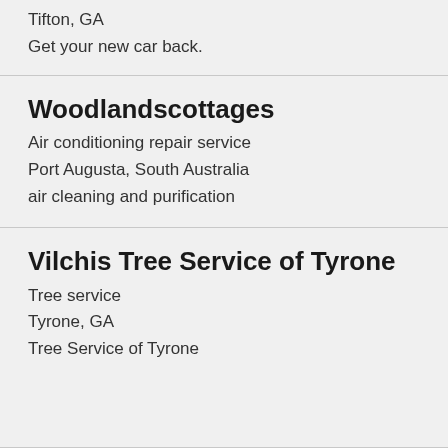Tifton, GA
Get your new car back.
Woodlandscottages
Air conditioning repair service
Port Augusta, South Australia
air cleaning and purification
Vilchis Tree Service of Tyrone
Tree service
Tyrone, GA
Tree Service of Tyrone